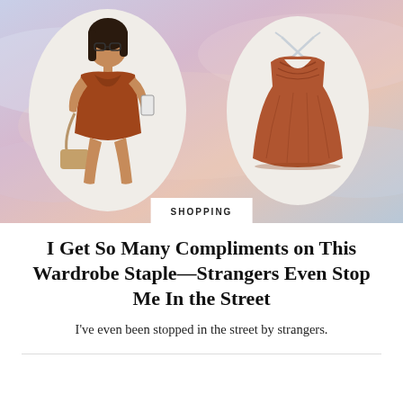[Figure (photo): Two oval-framed images on a pastel gradient background. Left oval: a woman wearing a rust/burnt-orange mini dress with a twist-front bodice, holding a phone for a mirror selfie, wearing glasses and carrying a tan crossbody bag. Right oval: a product shot of the same rust-colored satin mini dress with cross-back straps and ruched bodice, displayed flat.]
SHOPPING
I Get So Many Compliments on This Wardrobe Staple—Strangers Even Stop Me In the Street
I've even been stopped in the street by strangers.